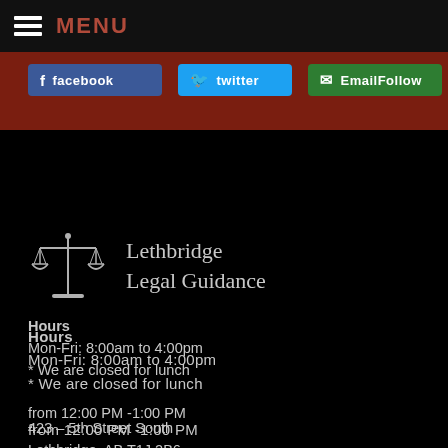MENU
[Figure (screenshot): Social media buttons: facebook, twitter, EmailFollow on dark red background]
[Figure (logo): Scales of justice icon with text Lethbridge Legal Guidance]
Hours
Mon-Fri: 8:00am to 4:00pm
* We are closed for lunch

from 12:00 PM -1:00 PM
423 – 5th Street South
Lethbridge, AB T1J 2B6

Phone: 403-380-6338